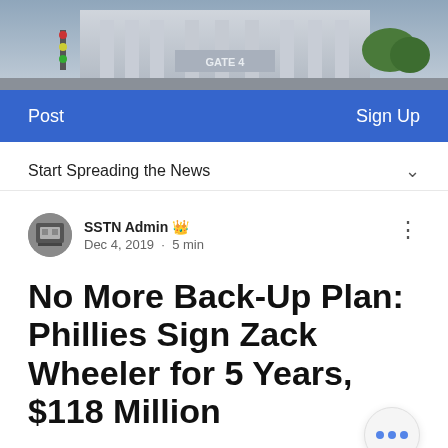[Figure (photo): Exterior of Yankee Stadium or similar large building with columns, street view, trees visible]
Post    Sign Up
Start Spreading the News
SSTN Admin 👑  Dec 4, 2019 · 5 min
No More Back-Up Plan: Phillies Sign Zack Wheeler for 5 Years, $118 Million
Wow. That was quick.
What a day for getting the hot stove